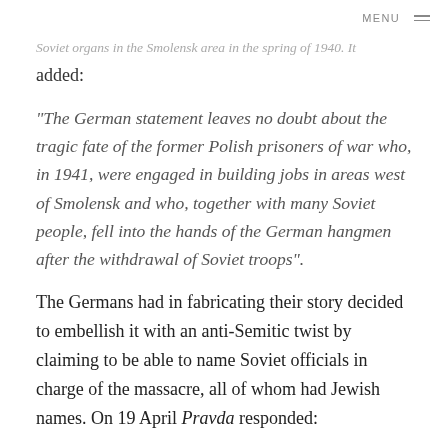MENU
Soviet organs in the Smolensk area in the spring of 1940. It added:
"The German statement leaves no doubt about the tragic fate of the former Polish prisoners of war who, in 1941, were engaged in building jobs in areas west of Smolensk and who, together with many Soviet people, fell into the hands of the German hangmen after the withdrawal of Soviet troops".
The Germans had in fabricating their story decided to embellish it with an anti-Semitic twist by claiming to be able to name Soviet officials in charge of the massacre, all of whom had Jewish names. On 19 April Pravda responded:
"To lie about the directors of the massacre...